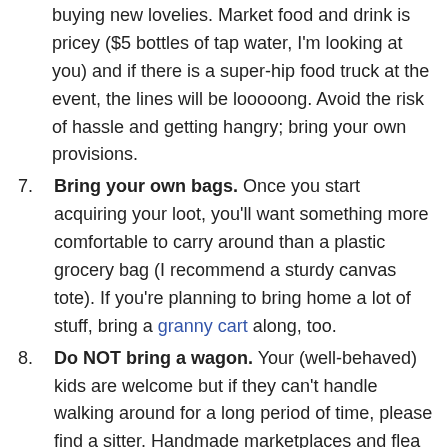buying new lovelies. Market food and drink is pricey ($5 bottles of tap water, I'm looking at you) and if there is a super-hip food truck at the event, the lines will be looooong. Avoid the risk of hassle and getting hangry; bring your own provisions.
7. Bring your own bags. Once you start acquiring your loot, you'll want something more comfortable to carry around than a plastic grocery bag (I recommend a sturdy canvas tote). If you're planning to bring home a lot of stuff, bring a granny cart along, too.
8. Do NOT bring a wagon. Your (well-behaved) kids are welcome but if they can't handle walking around for a long period of time, please find a sitter. Handmade marketplaces and flea markets are crowded. Wagons take up a lot of room and are difficult to move around, to the annoyance of many. Don't be that annoying